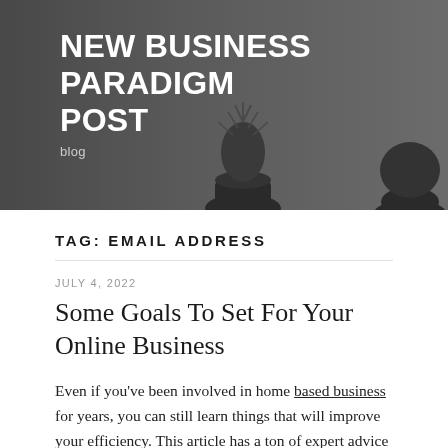[Figure (photo): Blog header banner with blurred background showing potted plants on a table, dark overlay with blog title and subtitle text]
NEW BUSINESS PARADIGM POST
blog
TAG: EMAIL ADDRESS
JULY 4, 2022
Some Goals To Set For Your Online Business
Even if you've been involved in home based business for years, you can still learn things that will improve your efficiency. This article has a ton of expert advice and your business will run better because you have read it.
Look for forums online. You can network and get helpful